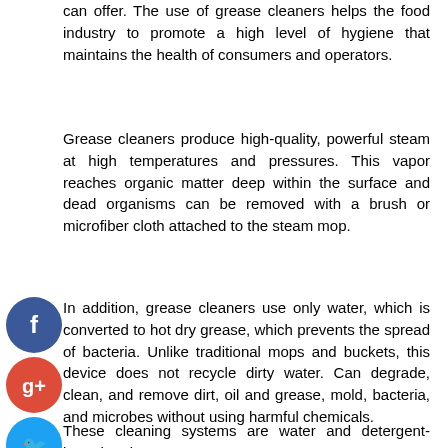can offer. The use of grease cleaners helps the food industry to promote a high level of hygiene that maintains the health of consumers and operators.
Grease cleaners produce high-quality, powerful steam at high temperatures and pressures. This vapor reaches organic matter deep within the surface and dead organisms can be removed with a brush or microfiber cloth attached to the steam mop.
[Figure (other): Social media icons: Facebook (blue), Google+ (red), Twitter (blue), and a plus/share button (dark)]
In addition, grease cleaners use only water, which is converted to hot dry grease, which prevents the spread of bacteria. Unlike traditional mops and buckets, this device does not recycle dirty water. Can degrade, clean, and remove dirt, oil and grease, mold, bacteria, and microbes without using harmful chemicals.
These cleaning systems are water and detergent-based and